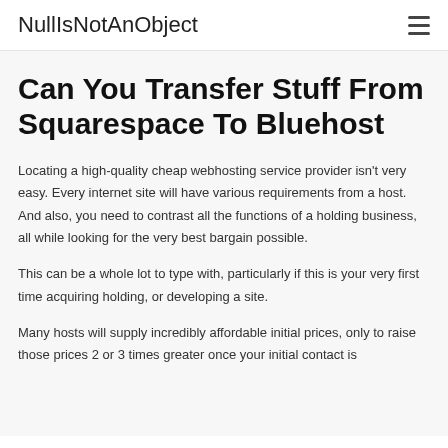NullIsNotAnObject
Can You Transfer Stuff From Squarespace To Bluehost
Locating a high-quality cheap webhosting service provider isn't very easy. Every internet site will have various requirements from a host. And also, you need to contrast all the functions of a holding business, all while looking for the very best bargain possible.
This can be a whole lot to type with, particularly if this is your very first time acquiring holding, or developing a site.
Many hosts will supply incredibly affordable initial prices, only to raise those prices 2 or 3 times greater once your initial contact is